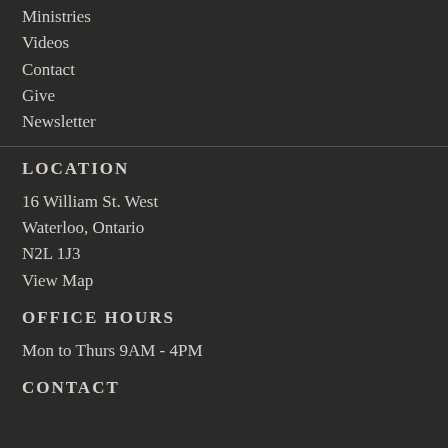Ministries
Videos
Contact
Give
Newsletter
LOCATION
16 William St. West
Waterloo, Ontario
N2L 1J3
View Map
OFFICE HOURS
Mon to Thurs 9AM - 4PM
CONTACT